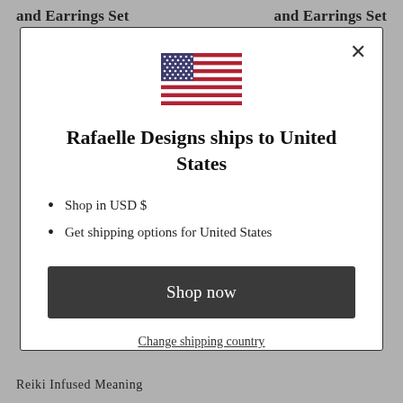and Earrings Set    and Earrings Set
[Figure (illustration): US flag icon — blue canton with white stars, red and white horizontal stripes]
Rafaelle Designs ships to United States
Shop in USD $
Get shipping options for United States
Shop now
Change shipping country
Reiki Infused Meaning